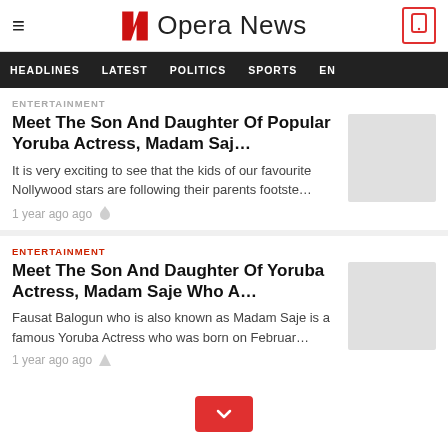Opera News
HEADLINES  LATEST  POLITICS  SPORTS  EN
ENTERTAINMENT
Meet The Son And Daughter Of Popular Yoruba Actress, Madam Saj...
It is very exciting to see that the kids of our favourite Nollywood stars are following their parents footste...
1 year ago ago
ENTERTAINMENT
Meet The Son And Daughter Of Yoruba Actress, Madam Saje Who A...
Fausat Balogun who is also known as Madam Saje is a famous Yoruba Actress who was born on Februar...
1 year ago ago